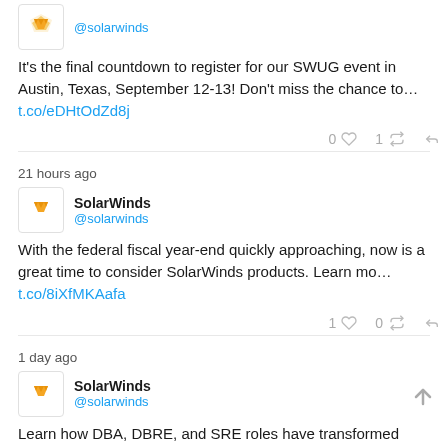[Figure (screenshot): SolarWinds Twitter/social media feed showing three tweets with user avatar, handle, tweet text, action counts, and timestamps.]
It's the final countdown to register for our SWUG event in Austin, Texas, September 12-13! Don't miss the chance to... t.co/eDHtOdZd8j
0 ♥ 1 🔁 ↩
21 hours ago
SolarWinds @solarwinds
With the federal fiscal year-end quickly approaching, now is a great time to consider SolarWinds products. Learn mo... t.co/8iXfMKAafa
1 ♥ 0 🔁 ↩
1 day ago
SolarWinds @solarwinds
Learn how DBA, DBRE, and SRE roles have transformed through the years in this blog post: t.co/Z5i3GXGn6h
▶ Show Media